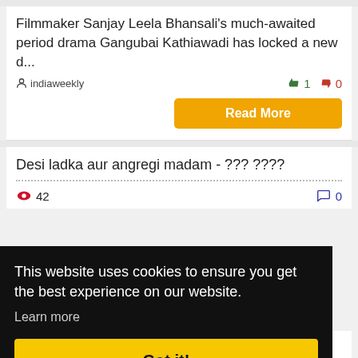Filmmaker Sanjay Leela Bhansali's much-awaited period drama Gangubai Kathiawadi has locked a new d...
indiaweekly
👍 1  👎 0
Read More
Desi ladka aur angregi madam - ??? ????
👁 42   💬 0
This website uses cookies to ensure you get the best experience on our website.
Learn more
Got it!